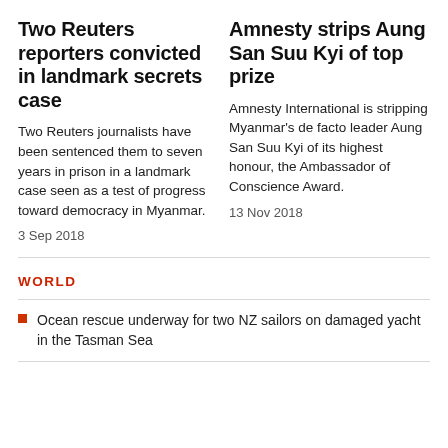Two Reuters reporters convicted in landmark secrets case
Two Reuters journalists have been sentenced them to seven years in prison in a landmark case seen as a test of progress toward democracy in Myanmar.
3 Sep 2018
Amnesty strips Aung San Suu Kyi of top prize
Amnesty International is stripping Myanmar's de facto leader Aung San Suu Kyi of its highest honour, the Ambassador of Conscience Award.
13 Nov 2018
WORLD
Ocean rescue underway for two NZ sailors on damaged yacht in the Tasman Sea